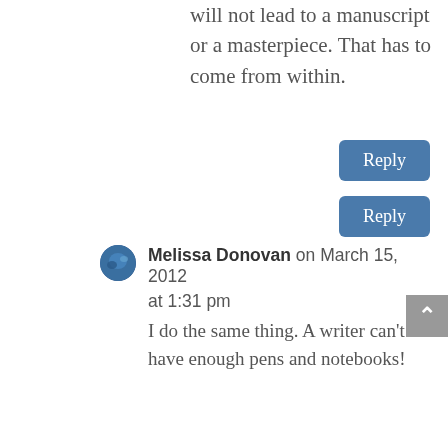will not lead to a manuscript or a masterpiece. That has to come from within.
Reply
Melissa Donovan on March 15, 2012 at 1:31 pm
I do the same thing. A writer can't have enough pens and notebooks!
Reply